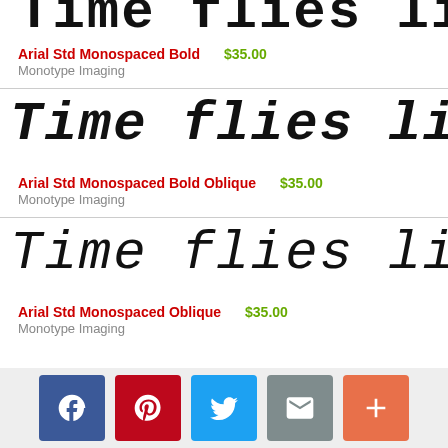[Figure (illustration): Cropped top of 'Time flies like' text in bold monospaced font]
Arial Std Monospaced Bold   $35.00
Monotype Imaging
[Figure (illustration): Time flies like — bold oblique monospaced font preview]
Arial Std Monospaced Bold Oblique   $35.00
Monotype Imaging
[Figure (illustration): Time flies like — oblique monospaced font preview]
Arial Std Monospaced Oblique   $35.00
Monotype Imaging
[Figure (illustration): Social share bar with Facebook, Pinterest, Twitter, Email, and More buttons]